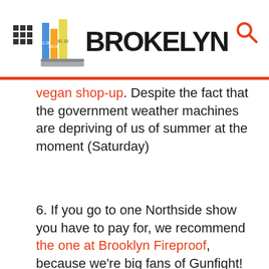BROKELYN
vegan shop-up. Despite the fact that the government weather machines are depriving of us of summer at the moment (Saturday)
6. If you go to one Northside show you have to pay for, we recommend the one at Brooklyn Fireproof, because we’re big fans of Gunfight! and The Suzan (Saturday)